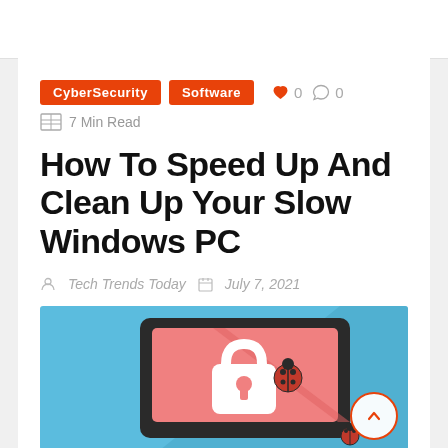CyberSecurity  Software   ♥ 0  💬 0
7 Min Read
How To Speed Up And Clean Up Your Slow Windows PC
Tech Trends Today   July 7, 2021
[Figure (illustration): Illustration of a laptop/monitor with a pink screen showing a padlock icon and ladybug, on a blue background with a diagonal shadow.]